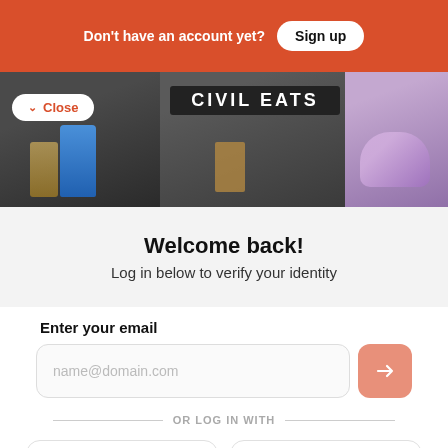Don't have an account yet?  Sign up
[Figure (screenshot): Civil Eats website image strip with food/delivery photos and a Close button]
Welcome back!
Log in below to verify your identity
Enter your email
name@domain.com
OR LOG IN WITH
Facebook
Google